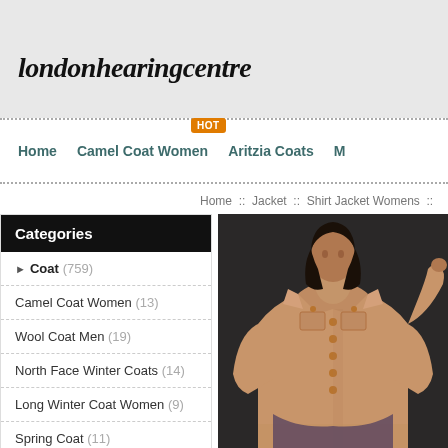londonhearingcentre
Home :: Camel Coat Women :: Aritzia Coats :: M
Home :: Jacket :: Shirt Jacket Womens ::
Categories
Coat (759)
Camel Coat Women (13)
Wool Coat Men (19)
North Face Winter Coats (14)
Long Winter Coat Women (9)
Spring Coat (11)
Aritzia Coats (19)
Mens Dress Coats (14)
[Figure (photo): Woman wearing a camel/tan button-up shirt jacket against a dark background]